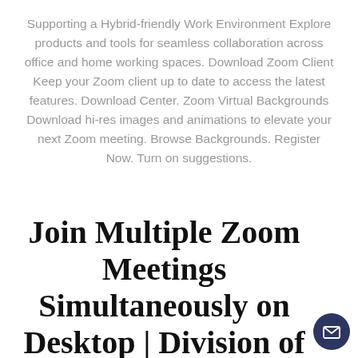Supporting a Hybrid-friendly Work Environment Explore products and tools for seamless collaboration across office and home working spaces. Download Zoom Client Keep your Zoom client up to date to access the latest features. Download Center. Zoom Virtual Backgrounds Download hi-res images and animations to elevate your next Zoom meeting. Browse Backgrounds. Register Now. Turn on suggestions.
Join Multiple Zoom Meetings Simultaneously on Desktop | Division of Information Technology